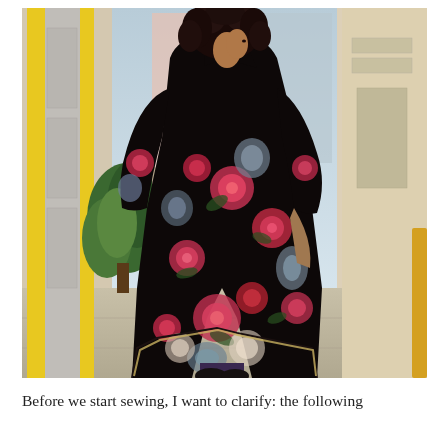[Figure (photo): A woman with curly black hair standing in an urban alley, wearing a long black floral maxi dress with pink and white flowers, long sleeves. She is turned away but looking back over her shoulder. The alley has yellow columns on the left, colorful buildings, and a green plant. She is wearing dark purple tights and dark ankle boots.]
Before we start sewing, I want to clarify: the following